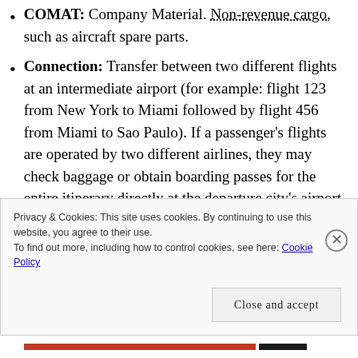COMAT: Company Material. Non-revenue cargo, such as aircraft spare parts.
Connection: Transfer between two different flights at an intermediate airport (for example: flight 123 from New York to Miami followed by flight 456 from Miami to Sao Paulo). If a passenger's flights are operated by two different airlines, they may check baggage or obtain boarding passes for the entire itinerary directly at the departure city's airport, pursuant to interlining agreements or
Privacy & Cookies: This site uses cookies. By continuing to use this website, you agree to their use.
To find out more, including how to control cookies, see here: Cookie Policy